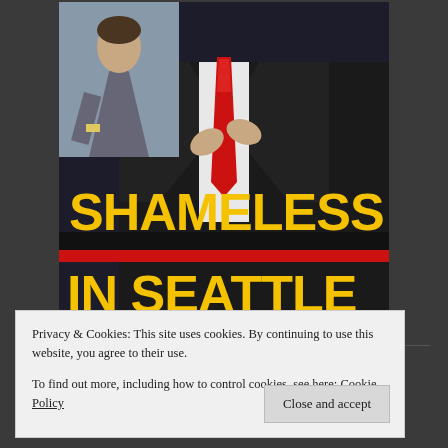[Figure (illustration): Book cover for 'Shameless in Seattle' by Alexis Duran. Shows a man in a suit adjusting a red tie, with a smaller inset photo of a young man in a jacket. Large yellow bold text reads 'SHAMELESS IN SEATTLE' with a red horizontal stripe, and white text reads 'ALEXIS DURAN' at the bottom.]
Privacy & Cookies: This site uses cookies. By continuing to use this website, you agree to their use.
To find out more, including how to control cookies, see here: Cookie Policy
Close and accept